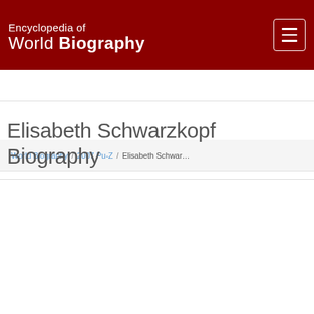Encyclopedia of World Biography
World Biography / 2007 Pu-Z / Elisabeth Schwar...
Elisabeth Schwarzkopf Biography